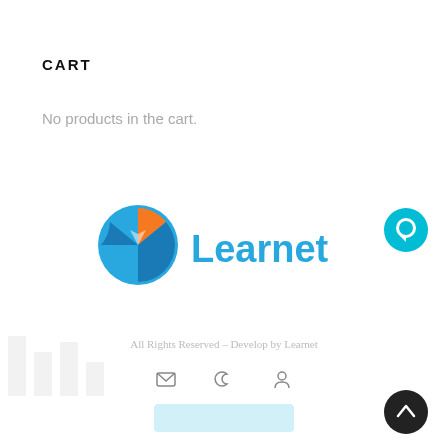CART
No products in the cart.
[Figure (logo): Learnet logo with colorful sunflower/leaf icon in blue and orange, and 'Learnet' text in blue]
[Figure (other): Cyan circular chat bubble icon in top right]
All Rights Reserved - Develop by Learnet
[Figure (other): Bottom navigation icons: mail envelope, crescent moon, person/user]
[Figure (other): Dark circular scroll-to-top button with upward chevron, bottom right]